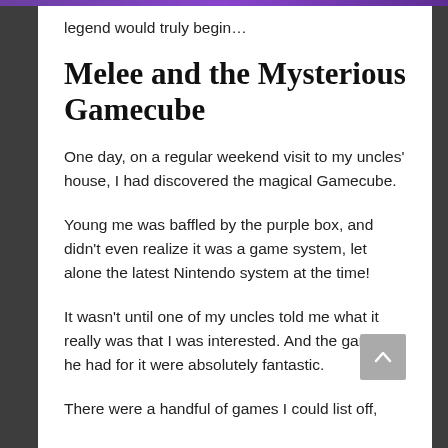legend would truly begin…
Melee and the Mysterious Gamecube
One day, on a regular weekend visit to my uncles' house, I had discovered the magical Gamecube.
Young me was baffled by the purple box, and didn't even realize it was a game system, let alone the latest Nintendo system at the time!
It wasn't until one of my uncles told me what it really was that I was interested. And the games he had for it were absolutely fantastic.
There were a handful of games I could list off,